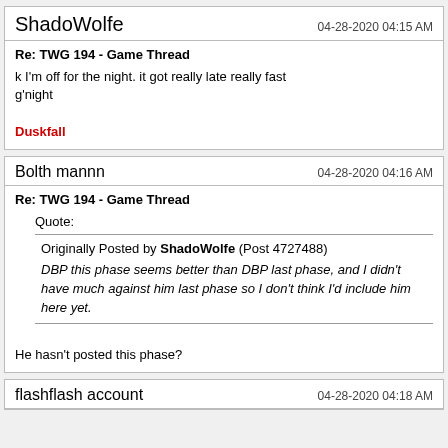ShadoWolfe — 04-28-2020 04:15 AM
Re: TWG 194 - Game Thread
k I'm off for the night. it got really late really fast
g'night
Duskfall
Bolth mannn — 04-28-2020 04:16 AM
Re: TWG 194 - Game Thread
Quote:
Originally Posted by ShadoWolfe (Post 4727488)
DBP this phase seems better than DBP last phase, and I didn't have much against him last phase so I don't think I'd include him here yet.
He hasn't posted this phase?
flashflash account — 04-28-2020 04:18 AM